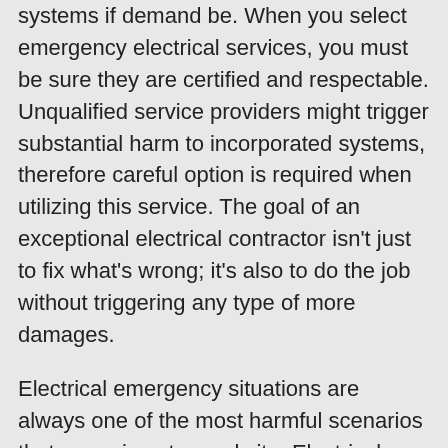systems if demand be. When you select emergency electrical services, you must be sure they are certified and respectable. Unqualified service providers might trigger substantial harm to incorporated systems, therefore careful option is required when utilizing this service. The goal of an exceptional electrical contractor isn't just to fix what's wrong; it's also to do the job without triggering any type of more damages.
Electrical emergency situations are always one of the most harmful scenarios that can arise at a worksite. Electrical risks, feasible fumes, and power failings are prospective problems that can come across an emergency callout.
A excellent emergency electrical company requires to be geared up for every one of these opportunities – they need to be able to safely deal with real-time electric systems, take care of any type of hazardous products found on-site (fumes or gases), and react rapidly when